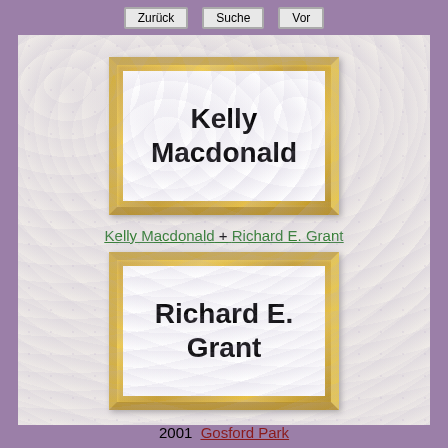Zurück  Suche  Vor
[Figure (illustration): Gold ornate frame containing the name 'Kelly Macdonald' in bold black text on white background]
Kelly Macdonald + Richard E. Grant
[Figure (illustration): Gold ornate frame containing the name 'Richard E. Grant' in bold black text on white background]
2001  Gosford Park
Age:  Kelly Macdonald  25      Richard E. Grant  44
[Figure (logo): Small colorful logo at the bottom center]